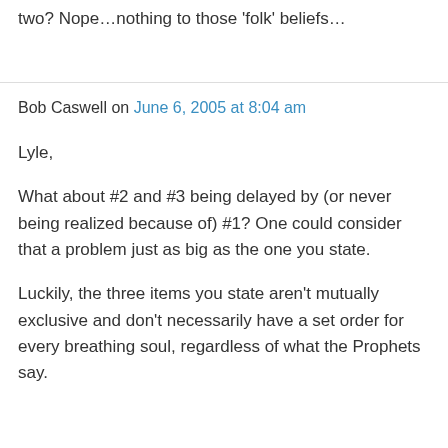two? Nope…nothing to those 'folk' beliefs…
Bob Caswell on June 6, 2005 at 8:04 am
Lyle,
What about #2 and #3 being delayed by (or never being realized because of) #1? One could consider that a problem just as big as the one you state.
Luckily, the three items you state aren't mutually exclusive and don't necessarily have a set order for every breathing soul, regardless of what the Prophets say.